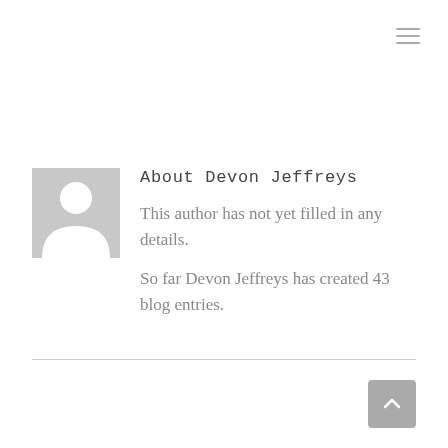[Figure (other): Hamburger menu icon (three horizontal lines) in top right corner]
[Figure (other): Generic user avatar placeholder image — grey square with white silhouette of a person]
About Devon Jeffreys
This author has not yet filled in any details.
So far Devon Jeffreys has created 43 blog entries.
[Figure (other): Back to top button — grey rounded rectangle with upward-pointing chevron arrow]